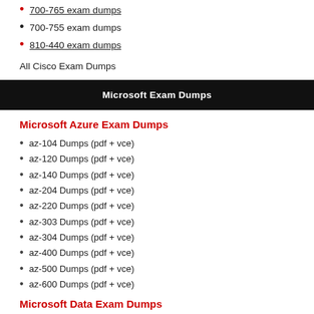700-765 exam dumps
700-755 exam dumps
810-440 exam dumps
All Cisco Exam Dumps
Microsoft Exam Dumps
Microsoft Azure Exam Dumps
az-104 Dumps (pdf + vce)
az-120 Dumps (pdf + vce)
az-140 Dumps (pdf + vce)
az-204 Dumps (pdf + vce)
az-220 Dumps (pdf + vce)
az-303 Dumps (pdf + vce)
az-304 Dumps (pdf + vce)
az-400 Dumps (pdf + vce)
az-500 Dumps (pdf + vce)
az-600 Dumps (pdf + vce)
Microsoft Data Exam Dumps